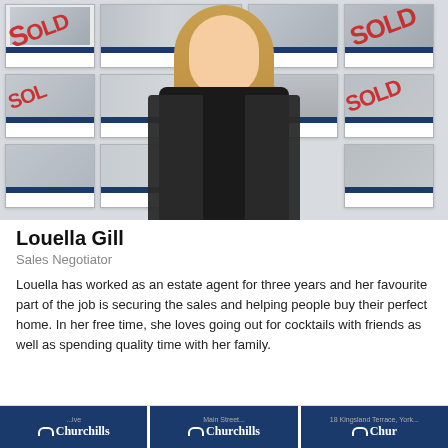[Figure (photo): Young woman with long blonde hair smiling, wearing a black turtleneck and floral jacket, standing in front of a wall of real estate property listing cards, some marked SOLD]
Louella Gill
Sales Negotiator
Louella has worked as an estate agent for three years and her favourite part of the job is securing the sales and helping people buy their perfect home. In her free time, she loves going out for cocktails with friends as well as spending quality time with her family.
[Figure (logo): Three Churchills estate agent logo panels at the bottom of the page]